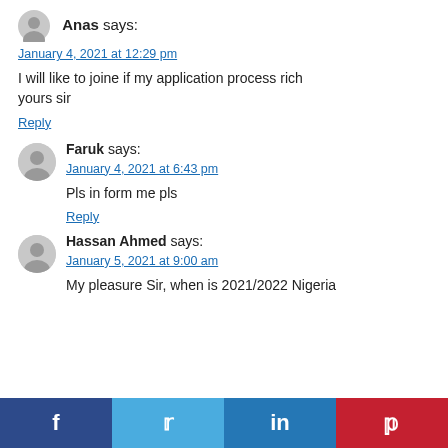Anas says:
January 4, 2021 at 12:29 pm
I will like to joine if my application process rich yours sir
Reply
Faruk says:
January 4, 2021 at 6:43 pm
Pls in form me pls
Reply
Hassan Ahmed says:
January 5, 2021 at 9:00 am
My pleasure Sir, when is 2021/2022 Nigeria